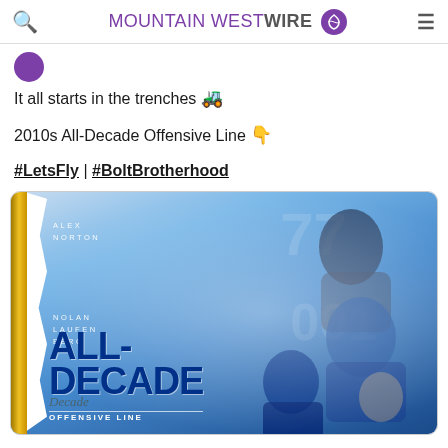MOUNTAIN WEST WIRE
It all starts in the trenches 🚜
2010s All-Decade Offensive Line 👇
#LetsFly | #BoltBrotherhood
[Figure (photo): Mountain West Wire tweet showing a football graphic for the 2010s All-Decade Offensive Line, featuring players Alex Norton and Nolan Laufenberg in blue uniforms, with a gold torn-paper edge design and large bold text reading ALL-DECADE OFFENSIVE LINE]